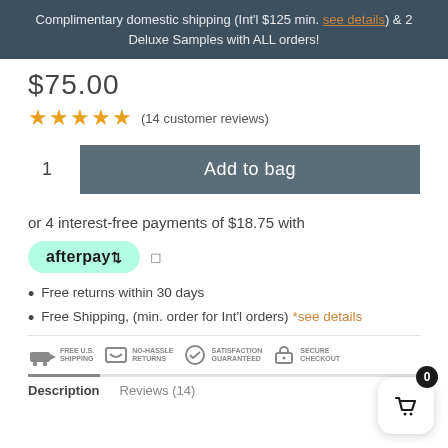Complimentary domestic shipping (Int'l $125 min. see details) & 2 Deluxe Samples with ALL orders!
$75.00
★★★★★ (14 customer reviews)
1  Add to bag
or 4 interest-free payments of $18.75 with
[Figure (logo): Afterpay logo badge with info icon]
Free returns within 30 days
Free Shipping, (min. order for Int'l orders) *see details
[Figure (infographic): Trust bar with four icons: Free U.S. Shipping, No-Hassle Returns, Satisfaction Guaranteed, Secure Checkout]
Description    Reviews (14)